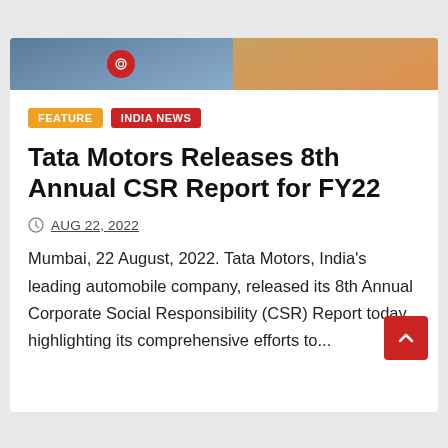[Figure (photo): Photo strip at top of article card showing two images side by side with a red camera icon overlay on the left image]
FEATURE   INDIA NEWS
Tata Motors Releases 8th Annual CSR Report for FY22
AUG 22, 2022
Mumbai, 22 August, 2022. Tata Motors, India's leading automobile company, released its 8th Annual Corporate Social Responsibility (CSR) Report today, highlighting its comprehensive efforts to...